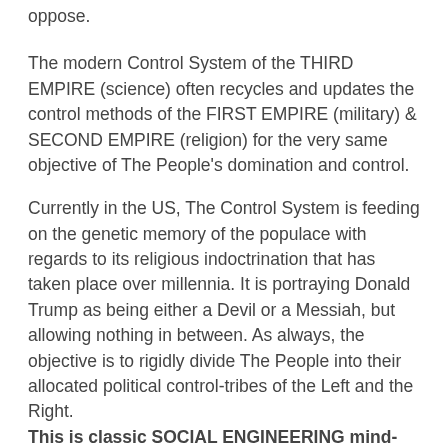oppose.
The modern Control System of the THIRD EMPIRE (science) often recycles and updates the control methods of the FIRST EMPIRE (military) & SECOND EMPIRE (religion) for the very same objective of The People's domination and control.
Currently in the US, The Control System is feeding on the genetic memory of the populace with regards to its religious indoctrination that has taken place over millennia. It is portraying Donald Trump as being either a Devil or a Messiah, but allowing nothing in between. As always, the objective is to rigidly divide The People into their allocated political control-tribes of the Left and the Right. This is classic SOCIAL ENGINEERING mind-control.